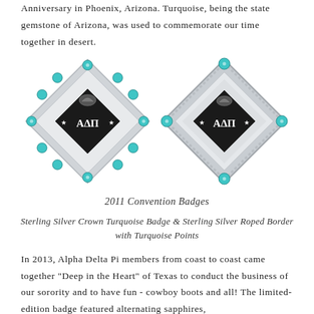Anniversary in Phoenix, Arizona. Turquoise, being the state gemstone of Arizona, was used to commemorate our time together in desert.
[Figure (photo): Two diamond-shaped Alpha Delta Pi sorority convention badges with turquoise gemstones and silver settings. Left badge has a crown of turquoise stones around the border; right badge has turquoise at the corner points with a roped silver border.]
2011 Convention Badges
Sterling Silver Crown Turquoise Badge & Sterling Silver Roped Border with Turquoise Points
In 2013, Alpha Delta Pi members from coast to coast came together "Deep in the Heart" of Texas to conduct the business of our sorority and to have fun - cowboy boots and all! The limited-edition badge featured alternating sapphires,